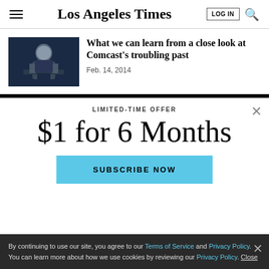Los Angeles Times
[Figure (photo): A man in a dark suit speaking at a podium, dark background.]
What we can learn from a close look at Comcast's troubling past
Feb. 14, 2014
LIMITED-TIME OFFER
$1 for 6 Months
SUBSCRIBE NOW
By continuing to use our site, you agree to our Terms of Service and Privacy Policy. You can learn more about how we use cookies by reviewing our Privacy Policy. Close